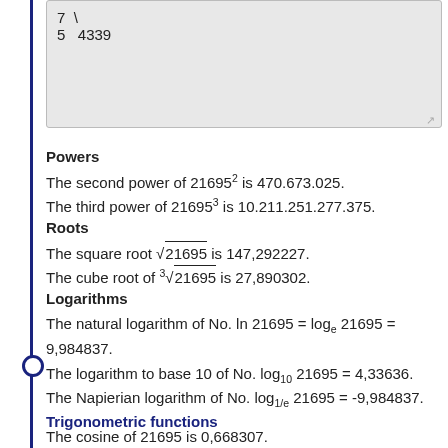7 \
5  4339
Powers
The second power of 21695² is 470.673.025.
The third power of 21695³ is 10.211.251.277.375.
Roots
The square root √21695 is 147,292227.
The cube root of ³√21695 is 27,890302.
Logarithms
The natural logarithm of No. ln 21695 = loge 21695 = 9,984837.
The logarithm to base 10 of No. log10 21695 = 4,33636.
The Napierian logarithm of No. log1/e 21695 = -9,984837.
Trigonometric functions
The cosine of 21695 is 0,668307.